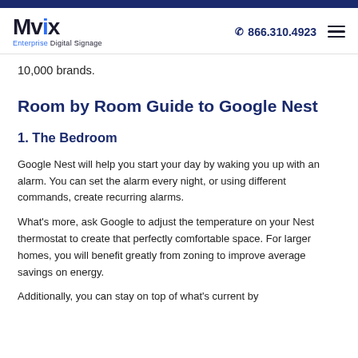Mvix Enterprise Digital Signage | 866.310.4923
10,000 brands.
Room by Room Guide to Google Nest
1. The Bedroom
Google Nest will help you start your day by waking you up with an alarm. You can set the alarm every night, or using different commands, create recurring alarms.
What's more, ask Google to adjust the temperature on your Nest thermostat to create that perfectly comfortable space. For larger homes, you will benefit greatly from zoning to improve average savings on energy.
Additionally, you can stay on top of what's current by